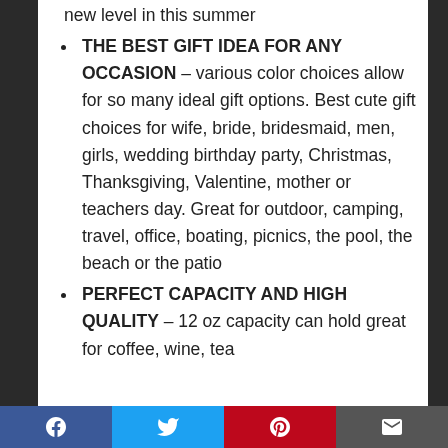new level in this summer
THE BEST GIFT IDEA FOR ANY OCCASION – various color choices allow for so many ideal gift options. Best cute gift choices for wife, bride, bridesmaid, men, girls, wedding birthday party, Christmas, Thanksgiving, Valentine, mother or teachers day. Great for outdoor, camping, travel, office, boating, picnics, the pool, the beach or the patio
PERFECT CAPACITY AND HIGH QUALITY – 12 oz capacity can hold great for coffee, wine, tea